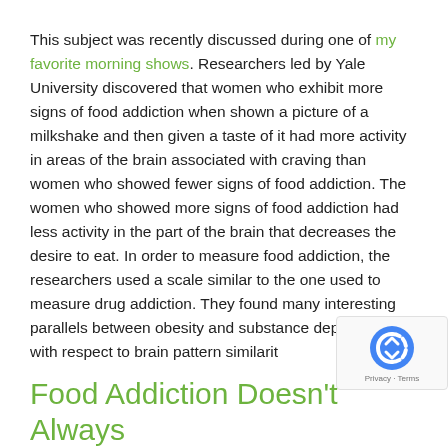This subject was recently discussed during one of my favorite morning shows. Researchers led by Yale University discovered that women who exhibit more signs of food addiction when shown a picture of a milkshake and then given a taste of it had more activity in areas of the brain associated with craving than women who showed fewer signs of food addiction. The women who showed more signs of food addiction had less activity in the part of the brain that decreases the desire to eat. In order to measure food addiction, the researchers used a scale similar to the one used to measure drug addiction. They found many interesting parallels between obesity and substance dependence with respect to brain pattern similarit...
Food Addiction Doesn't Always